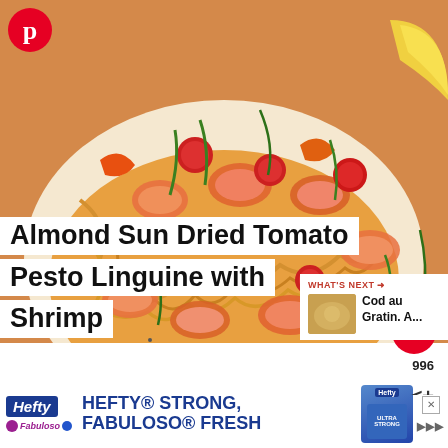[Figure (photo): Close-up food photo of shrimp pasta dish with tomatoes and chives on a white plate, orange/golden tones]
Almond Sun Dried Tomato Pesto Linguine with Shrimp
WHAT'S NEXT → Cod au Gratin. A...
996
[Figure (photo): Thumbnail of Cod au Gratin dish]
[Figure (photo): Hefty / Fabuloso advertisement banner: HEFTY STRONG, FABULOSO FRESH]
HEFTY® STRONG, FABULOSO® FRESH